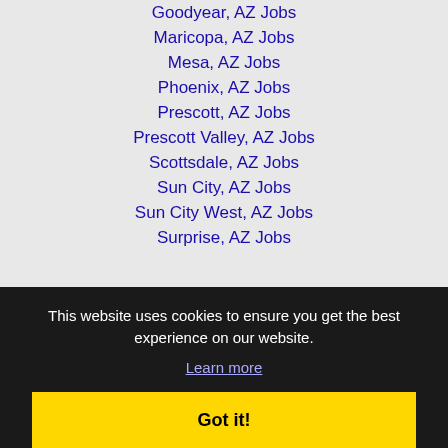Goodyear, AZ Jobs
Maricopa, AZ Jobs
Mesa, AZ Jobs
Phoenix, AZ Jobs
Prescott, AZ Jobs
Prescott Valley, AZ Jobs
Scottsdale, AZ Jobs
Sun City, AZ Jobs
Sun City West, AZ Jobs
Surprise, AZ Jobs
This website uses cookies to ensure you get the best experience on our website.
Learn more
Got it!
Copyright © 2001 - 2022 Recruiter Media Corporation